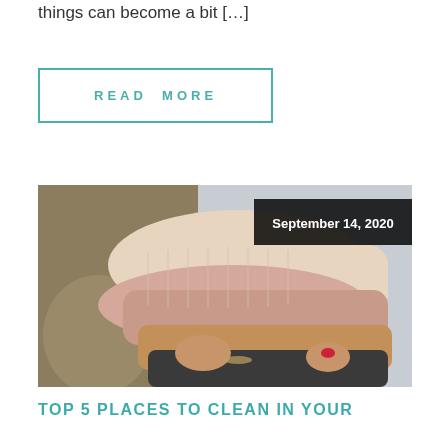things can become a bit […]
READ MORE
[Figure (photo): Person holding a stack of folded knit sweaters/blankets in various colors including cream, pink, and dark grey, with a date badge overlay reading September 14, 2020]
TOP 5 PLACES TO CLEAN IN YOUR